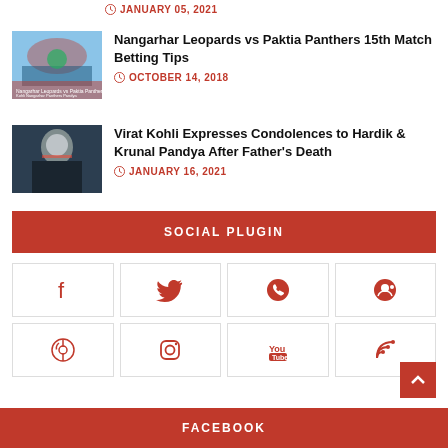JANUARY 05, 2021
[Figure (photo): Sports event thumbnail image]
Nangarhar Leopards vs Paktia Panthers 15th Match Betting Tips
OCTOBER 14, 2018
[Figure (photo): Virat Kohli photo]
Virat Kohli Expresses Condolences to Hardik & Krunal Pandya After Father's Death
JANUARY 16, 2021
SOCIAL PLUGIN
[Figure (infographic): Social media icons grid: Facebook, Twitter, WhatsApp, Reddit, Pinterest, Instagram, YouTube, RSS]
FACEBOOK